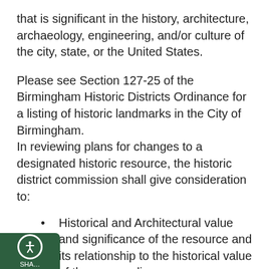that is significant in the history, architecture, archaeology, engineering, and/or culture of the city, state, or the United States.
Please see Section 127-25 of the Birmingham Historic Districts Ordinance for a listing of historic landmarks in the City of Birmingham.
In reviewing plans for changes to a designated historic resource, the historic district commission shall give consideration to:
Historical and Architectural value and significance of the resource and its relationship to the historical value of the surrounding area
The relationship of the exterior architectural or historical features of such resource to the rest of the subject site